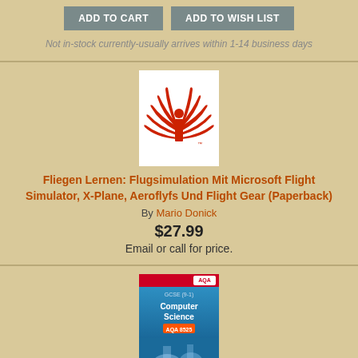ADD TO CART | ADD TO WISH LIST
Not in-stock currently-usually arrives within 1-14 business days
[Figure (logo): Red abstract logo with stylized letter i and wing/leaf shapes]
Fliegen Lernen: Flugsimulation Mit Microsoft Flight Simulator, X-Plane, Aeroflyfs Und Flight Gear (Paperback)
By Mario Donick
$27.99
Email or call for price.
[Figure (photo): Book cover for GCSE (9-1) Computer Science AQA 8525, blue cover with lab glassware, red AQA badge at top right]